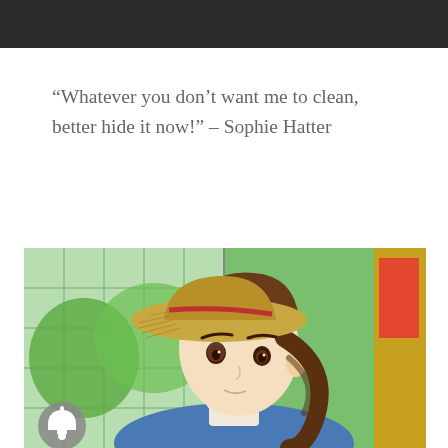[Figure (other): Dark header bar at top of page]
“Whatever you don’t want me to clean, better hide it now!” – Sophie Hatter
[Figure (illustration): Anime illustration of Sophie Hatter from Howl's Moving Castle, a young woman wearing a wide straw hat and blue dress with braided brown hair, looking upward, with a tiled window and green trees in background. A notification bell icon appears in the bottom left corner.]